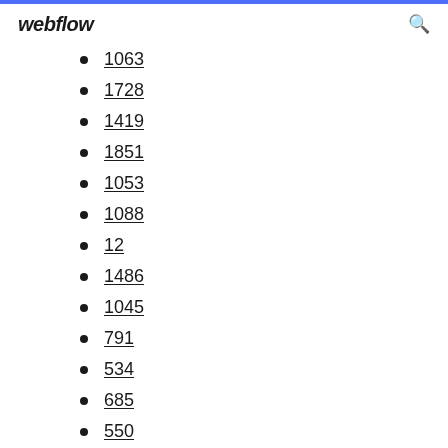webflow
1063
1728
1419
1851
1053
1088
12
1486
1045
791
534
685
550